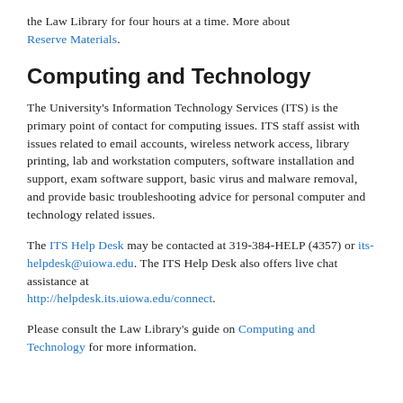the Law Library for four hours at a time. More about Reserve Materials.
Computing and Technology
The University's Information Technology Services (ITS) is the primary point of contact for computing issues. ITS staff assist with issues related to email accounts, wireless network access, library printing, lab and workstation computers, software installation and support, exam software support, basic virus and malware removal, and provide basic troubleshooting advice for personal computer and technology related issues.
The ITS Help Desk may be contacted at 319-384-HELP (4357) or its-helpdesk@uiowa.edu. The ITS Help Desk also offers live chat assistance at http://helpdesk.its.uiowa.edu/connect.
Please consult the Law Library's guide on Computing and Technology for more information.